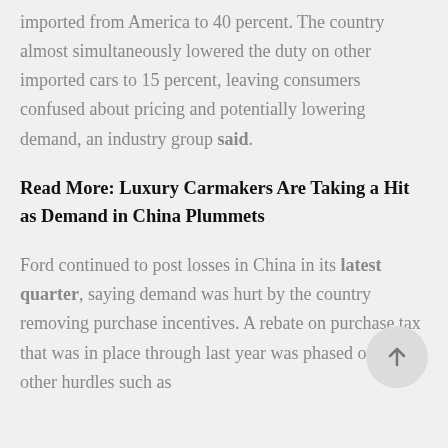imported from America to 40 percent. The country almost simultaneously lowered the duty on other imported cars to 15 percent, leaving consumers confused about pricing and potentially lowering demand, an industry group said.
Read More: Luxury Carmakers Are Taking a Hit as Demand in China Plummets
Ford continued to post losses in China in its latest quarter, saying demand was hurt by the country removing purchase incentives. A rebate on purchase tax that was in place through last year was phased out, and other hurdles such as